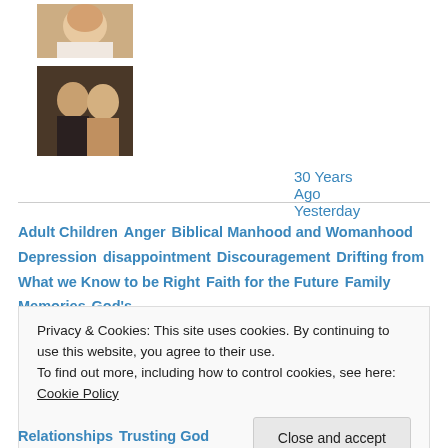[Figure (photo): Small thumbnail photo of a baby close-up]
[Figure (photo): Thumbnail photo of a couple, man and woman]
30 Years Ago Yesterday
Adult Children  Anger  Biblical Manhood and Womanhood  Depression  disappointment  Discouragement  Drifting from What we Know to be Right  Faith for the Future  Family Memories  God's
Privacy & Cookies: This site uses cookies. By continuing to use this website, you agree to their use.
To find out more, including how to control cookies, see here: Cookie Policy

Close and accept
Relationships  Trusting God